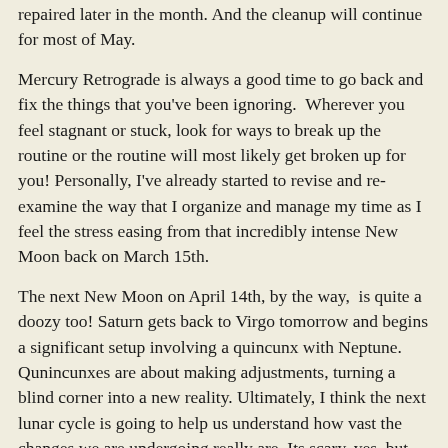repaired later in the month. And the cleanup will continue for most of May.
Mercury Retrograde is always a good time to go back and fix the things that you've been ignoring.  Wherever you feel stagnant or stuck, look for ways to break up the routine or the routine will most likely get broken up for you! Personally, I've already started to revise and re-examine the way that I organize and manage my time as I feel the stress easing from that incredibly intense New Moon back on March 15th.
The next New Moon on April 14th, by the way,  is quite a doozy too! Saturn gets back to Virgo tomorrow and begins a significant setup involving a quincunx with Neptune.  Qunincunxes are about making adjustments, turning a blind corner into a new reality. Ultimately, I think the next lunar cycle is going to help us understand how vast the changes we are undergoing really are. Its scary, yes, but all of the information we need is going to be at our fingertips and the retrograde Mercury should give us some time and some cover to go back and sort out any lingering obstacles that we've been avoiding.
April is always really tricky for me.  I don't do well with the all of